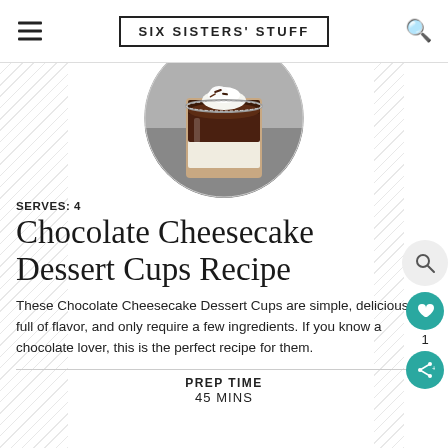SIX SISTERS' STUFF
[Figure (photo): Circular photo of chocolate cheesecake dessert cup in a glass jar with whipped cream and chocolate shavings on top, layered chocolate and cream filling]
SERVES: 4
Chocolate Cheesecake Dessert Cups Recipe
These Chocolate Cheesecake Dessert Cups are simple, delicious, full of flavor, and only require a few ingredients. If you know a chocolate lover, this is the perfect recipe for them.
PREP TIME
45 MINS